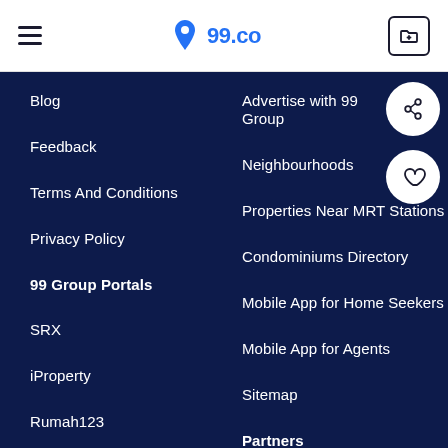99.co navigation header
Blog
Feedback
Terms And Conditions
Privacy Policy
99 Group Portals
SRX
iProperty
Rumah123
Advertise with 99 Group
Neighbourhoods
Properties Near MRT Stations
Condominiums Directory
Mobile App for Home Seekers
Mobile App for Agents
Sitemap
Partners